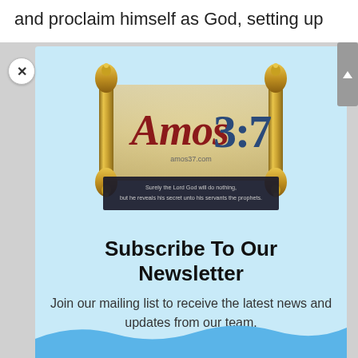and proclaim himself as God, setting up
[Figure (logo): Amos 3:7 website logo — a decorative scroll with golden rollers displaying 'Amos3:7' in red and blue stylized text with website url 'amos37.com' and dark banner with scripture quote: 'Surely the Lord God will do nothing, but he reveals his secret unto his servants the prophets.']
Subscribe To Our Newsletter
Join our mailing list to receive the latest news and updates from our team.